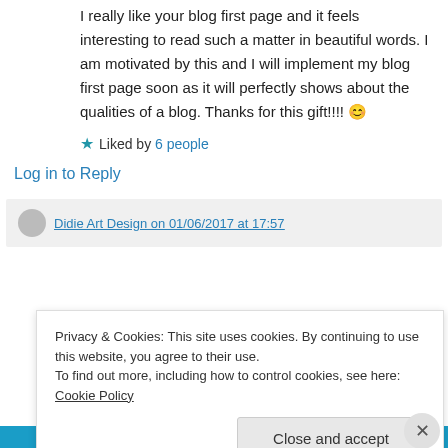I really like your blog first page and it feels interesting to read such a matter in beautiful words. I am motivated by this and I will implement my blog first page soon as it will perfectly shows about the qualities of a blog. Thanks for this gift!!!! 😊
★ Liked by 6 people
Log in to Reply
Didie Art Design on 01/06/2017 at 17:57
Privacy & Cookies: This site uses cookies. By continuing to use this website, you agree to their use.
To find out more, including how to control cookies, see here: Cookie Policy
Close and accept